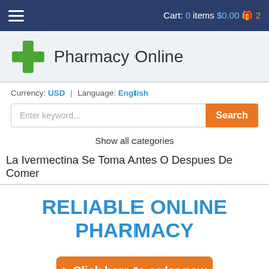Cart: 0 items $0.00 2
Pharmacy Online
Currency: USD | Language: English
Enter keyword... Search
Show all categories
La Ivermectina Se Toma Antes O Despues De Comer
RELIABLE ONLINE PHARMACY
> Click here to order now